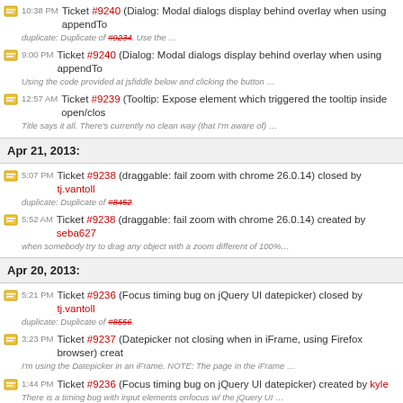10:38 PM Ticket #9240 (Dialog: Modal dialogs display behind overlay when using appendTo duplicate: Duplicate of #9234. Use the …
9:00 PM Ticket #9240 (Dialog: Modal dialogs display behind overlay when using appendTo Using the code provided at jsfiddle below and clicking the button …
12:57 AM Ticket #9239 (Tooltip: Expose element which triggered the tooltip inside open/clos Title says it all. There's currently no clean way (that I'm aware of) …
Apr 21, 2013:
5:07 PM Ticket #9238 (draggable: fail zoom with chrome 26.0.14) closed by tj.vantoll duplicate: Duplicate of #8452.
5:52 AM Ticket #9238 (draggable: fail zoom with chrome 26.0.14) created by seba627 when somebody try to drag any object with a zoom different of 100%…
Apr 20, 2013:
5:21 PM Ticket #9236 (Focus timing bug on jQuery UI datepicker) closed by tj.vantoll duplicate: Duplicate of #8556.
3:23 PM Ticket #9237 (Datepicker not closing when in iFrame, using Firefox browser) creat I'm using the Datepicker in an iFrame. NOTE: The page in the iFrame …
1:44 PM Ticket #9236 (Focus timing bug on jQuery UI datepicker) created by kyle There is a timing bug with input elements onfocus w/ the jQuery UI …
4:56 AM Ticket #9210 (Sortable throw weird events when dragging from draggable:connect Invalid: Because we get so many tickets, we often need to return them to the …
Apr 19, 2013: